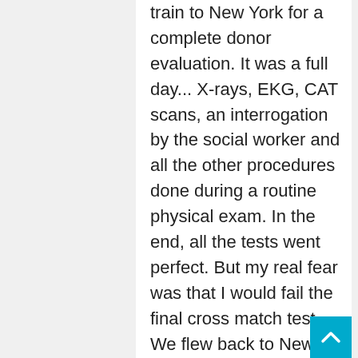train to New York for a complete donor evaluation. It was a full day... X-rays, EKG, CAT scans, an interrogation by the social worker and all the other procedures done during a routine physical exam. In the end, all the tests went perfect. But my real fear was that I would fail the final cross match test. We flew back to New York a week before the surgery. I did the final cross match test in person. I passed! I was ecstatic and very relieved that someone (Me) had finally passed the second cross match. The surgery was a definite. I left for New York two days before the surgery. I met with a few people from the hospital the day before